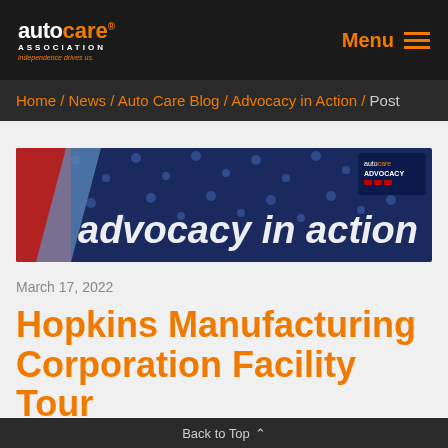auto care® ASSOCIATION independence drives us. Menu
Home / News / Auto Care Blog / Advocacy in Action / Post
[Figure (illustration): Auto Care Advocacy in Action banner — dark blue background with stars, red stripe on left, 'advocacy in action' text in white italic bold, Auto Care Advocacy logo badge top right]
March 17, 2022
Hopkins Manufacturing Corporation Facility Tour
Back to Top ^